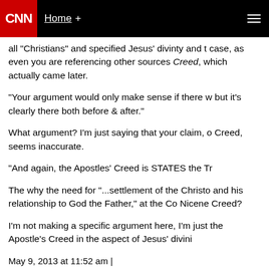CNN  Home +
all "Christians" and specified Jesus' divinty and t case, as even you are referencing other sources Creed, which actually came later.
"Your argument would only make sense if there w but it's clearly there both before & after."
What argument? I'm just saying that your claim, o Creed, seems inaccurate.
"And again, the Apostles' Creed is STATES the Tr
The why the need for "...settlement of the Christo and his relationship to God the Father," at the Co Nicene Creed?
I'm not making a specific argument here, I'm just the Apostle's Creed in the aspect of Jesus' divini
May 9, 2013 at 11:52 am |
olatag